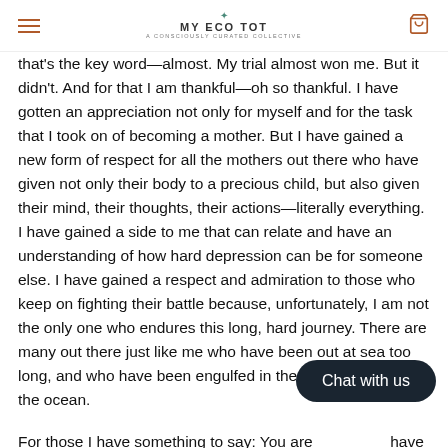MY ECO TOT — A CONSCIOUSLY CURATED COLLECTIVE
that's the key word—almost. My trial almost won me. But it didn't. And for that I am thankful—oh so thankful. I have gotten an appreciation not only for myself and for the task that I took on of becoming a mother. But I have gained a new form of respect for all the mothers out there who have given not only their body to a precious child, but also given their mind, their thoughts, their actions—literally everything. I have gained a side to me that can relate and have an understanding of how hard depression can be for someone else. I have gained a respect and admiration to those who keep on fighting their battle because, unfortunately, I am not the only one who endures this long, hard journey. There are many out there just like me who have been out at sea too long, and who have been engulfed in the stormy waves of the ocean.

For those I have something to say: You are [obscured] have the strength to get through this. If you feel like you can't and